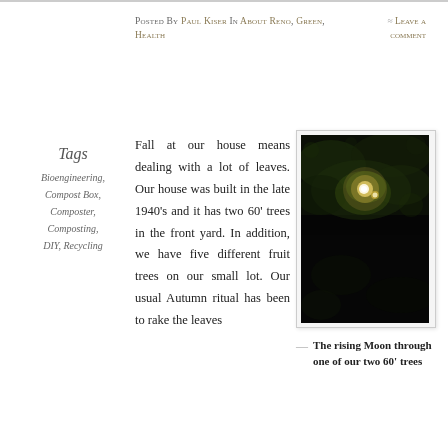Posted by Paul Kiser in About Reno, Green, Health
≈ Leave a comment
Tags
Bioengineering, Compost Box, Composter, Composting, DIY, Recycling
Fall at our house means dealing with a lot of leaves. Our house was built in the late 1940's and it has two 60' trees in the front yard. In addition, we have five different fruit trees on our small lot. Our usual Autumn ritual has been to rake the leaves
[Figure (photo): A dark nighttime photo showing a bright glowing moon visible through the canopy of a large tree, with green foliage faintly illuminated around the bright light source against a black sky.]
— The rising Moon through one of our two 60' trees